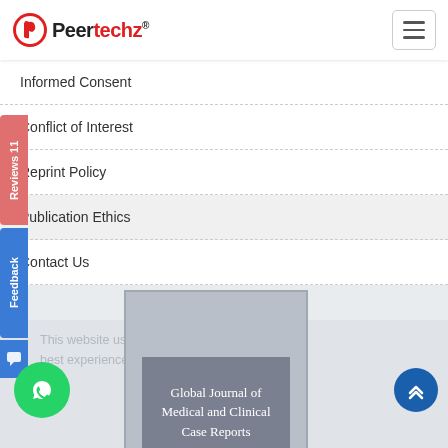Peertechz
Informed Consent
Conflict of Interest
Reprint Policy
Publication Ethics
Contact Us
This website uses cookies to ensure you get the best experience. Learn more
[Figure (other): Global Journal of Medical and Clinical Case Reports journal cover card overlay]